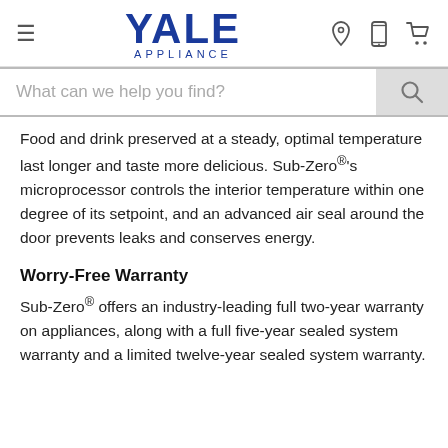YALE APPLIANCE
Food and drink preserved at a steady, optimal temperature last longer and taste more delicious. Sub-Zero®’s microprocessor controls the interior temperature within one degree of its setpoint, and an advanced air seal around the door prevents leaks and conserves energy.
Worry-Free Warranty
Sub-Zero® offers an industry-leading full two-year warranty on appliances, along with a full five-year sealed system warranty and a limited twelve-year sealed system warranty.